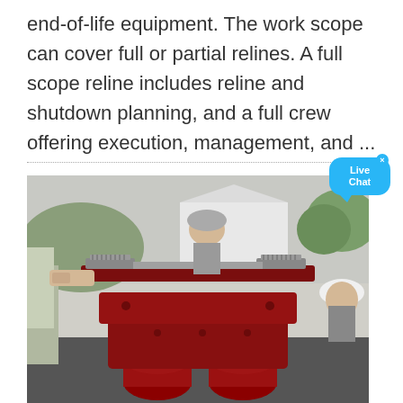end-of-life equipment. The work scope can cover full or partial relines. A full scope reline includes reline and shutdown planning, and a full crew offering execution, management, and ...
[Figure (photo): Workers handling large red industrial mechanical equipment (appears to be a mill or rotary equipment assembly) outdoors. Workers in hard hats visible around the machinery.]